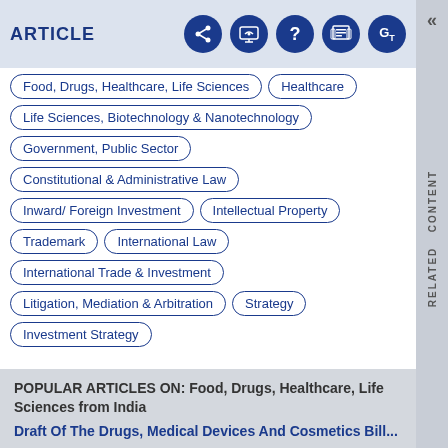ARTICLE
Food, Drugs, Healthcare, Life Sciences
Healthcare
Life Sciences, Biotechnology & Nanotechnology
Government, Public Sector
Constitutional & Administrative Law
Inward/ Foreign Investment
Intellectual Property
Trademark
International Law
International Trade & Investment
Litigation, Mediation & Arbitration
Strategy
Investment Strategy
POPULAR ARTICLES ON: Food, Drugs, Healthcare, Life Sciences from India
Draft Of The Drugs, Medical Devices And Cosmetics Bill...